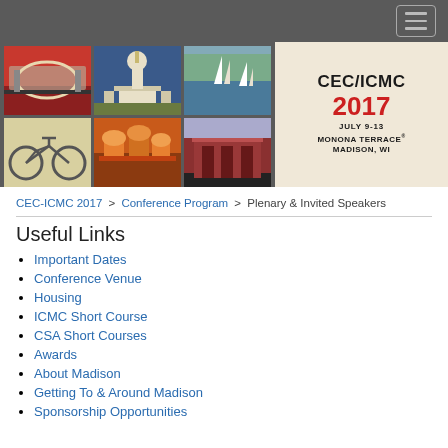[Figure (illustration): CEC/ICMC 2017 conference banner with illustrated Madison WI scenes (bridge, state capitol, lakeside sailboats, bicycles, market, building) and conference title text: CEC/ICMC 2017, July 9-13, Monona Terrace, Madison, WI]
CEC-ICMC 2017 > Conference Program > Plenary & Invited Speakers
Useful Links
Important Dates
Conference Venue
Housing
ICMC Short Course
CSA Short Courses
Awards
About Madison
Getting To & Around Madison
Sponsorship Opportunities